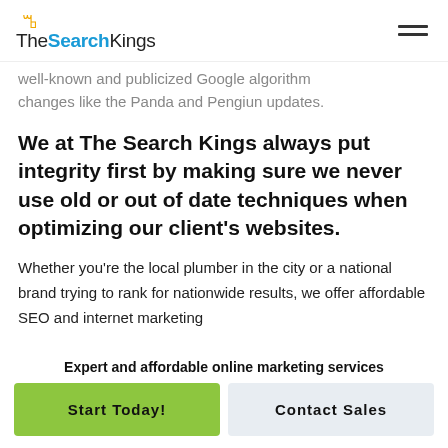TheSearchKings
well-known and publicized Google algorithm changes like the Panda and Pengiun updates.
We at The Search Kings always put integrity first by making sure we never use old or out of date techniques when optimizing our client's websites.
Whether you're the local plumber in the city or a national brand trying to rank for nationwide results, we offer affordable SEO and internet marketing
Expert and affordable online marketing services
Start Today!
Contact Sales